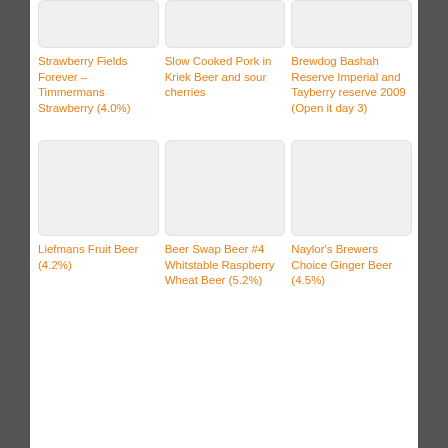[Figure (photo): Placeholder image box for Strawberry Fields Forever beer]
Strawberry Fields Forever – Timmermans Strawberry (4.0%)
[Figure (photo): Placeholder image box for Slow Cooked Pork in Kriek Beer]
Slow Cooked Pork in Kriek Beer and sour cherries
[Figure (photo): Placeholder image box for Brewdog Bashah Reserve Imperial]
Brewdog Bashah Reserve Imperial and Tayberry reserve 2009 (Open it day 3)
[Figure (photo): Placeholder image box for Liefmans Fruit Beer]
Liefmans Fruit Beer (4.2%)
[Figure (photo): Placeholder image box for Beer Swap Beer #4]
Beer Swap Beer #4 Whitstable Raspberry Wheat Beer (5.2%)
[Figure (photo): Placeholder image box for Naylor's Brewers Choice Ginger Beer]
Naylor's Brewers Choice Ginger Beer (4.5%)